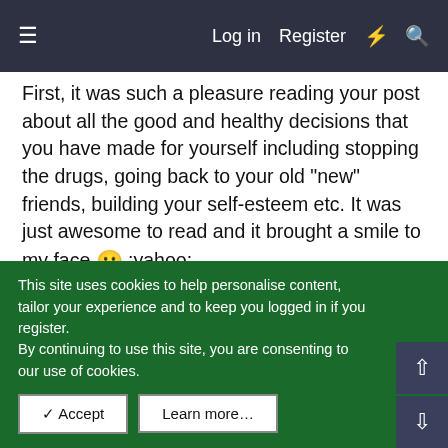Log in  Register
First, it was such a pleasure reading your post about all the good and healthy decisions that you have made for yourself including stopping the drugs, going back to your old "new" friends, building your self-esteem etc. It was just awesome to read and it brought a smile to my face 🙂 :yahoo:
Second, as for the urges about stopping SI, I don't really have much to comment on as I have only stopped about two months ago myself and the urges are still there all the time. I will be interested to learn what others have to say though. Congrats in not SI'ing in a long while by the way :2thumbs:
Again...just from your post you sound so much more upbeat and confident and that is wonderful to see.
This site uses cookies to help personalise content, tailor your experience and to keep you logged in if you register.
By continuing to use this site, you are consenting to our use of cookies.
✓ Accept   Learn more…